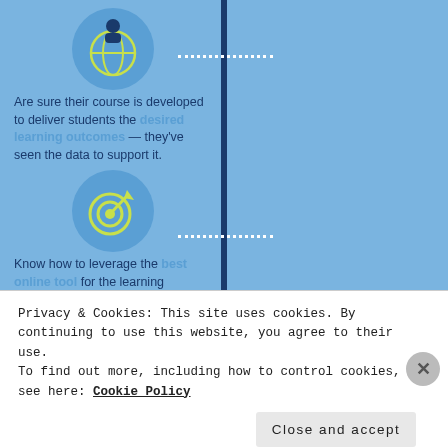[Figure (infographic): Two-column infographic comparing what confident online instructors do vs what others feel/wonder. Left column (blue): icons and text about knowing desired learning outcomes and best online tools. Right column (lighter blue): icons and text about wondering about course value and feeling lack of peer interaction.]
Are sure their course is developed to deliver students the desired learning outcomes — they've seen the data to support it.
Wonder what value their course adds to a student's education and career.
Know how to leverage the best online tool for the learning objective at hand.
Feel their course is without vital peer interaction, and is one-dimensional.
Privacy & Cookies: This site uses cookies. By continuing to use this website, you agree to their use.
To find out more, including how to control cookies, see here: Cookie Policy
Close and accept